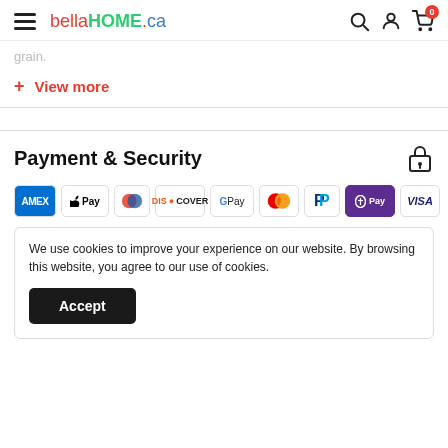bellaHOME.ca
grain.
+ View more
Payment & Security
[Figure (logo): Payment method logos: Amex, Apple Pay, Diners Club, Discover, Google Pay, Mastercard, PayPal, Shop Pay, Visa]
We use cookies to improve your experience on our website. By browsing this website, you agree to our use of cookies.
Accept